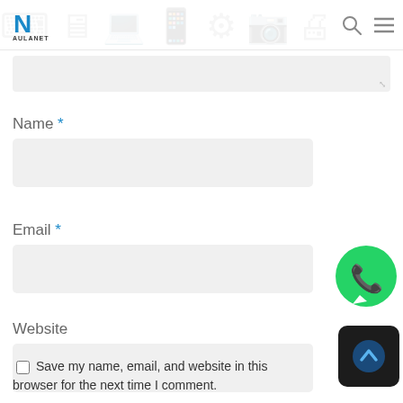AULANET
Name *
Email *
Website
Save my name, email, and website in this browser for the next time I comment.
[Figure (logo): AULANET logo with blue N and text]
[Figure (illustration): WhatsApp green circle button with phone icon]
[Figure (illustration): Dark square scroll-to-top button with upward chevron]